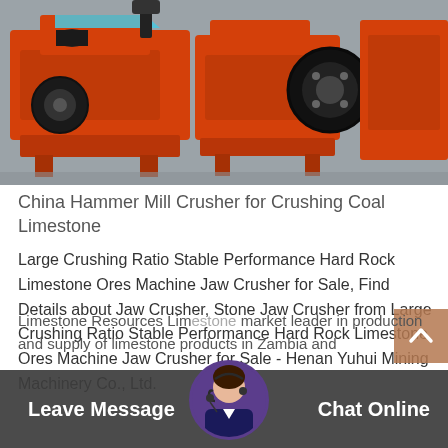[Figure (photo): Photo of orange China Hammer Mill Crusher machines lined up in a factory/warehouse, showing industrial jaw crusher equipment with black wheels and orange painted metal bodies.]
China Hammer Mill Crusher for Crushing Coal Limestone
Large Crushing Ratio Stable Performance Hard Rock Limestone Ores Machine Jaw Crusher for Sale, Find Details about Jaw Crusher, Stone Jaw Crusher from Large Crushing Ratio Stable Performance Hard Rock Limestone Ores Machine Jaw Crusher for Sale - Henan Yuhui Mining Machinery Co., Ltd.
Limestone Resources Limestone market leader in production and supply of limestone products in Zambia and